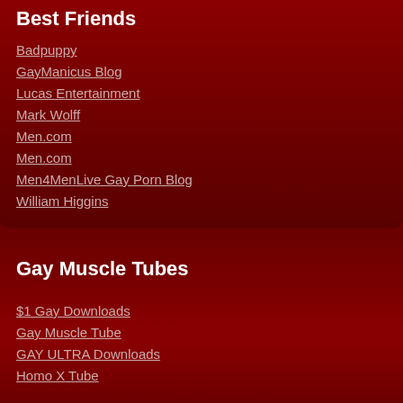Best Friends
Badpuppy
GayManicus Blog
Lucas Entertainment
Mark Wolff
Men.com
Men.com
Men4MenLive Gay Porn Blog
William Higgins
Gay Muscle Tubes
$1 Gay Downloads
Gay Muscle Tube
GAY ULTRA Downloads
Homo X Tube
Webmaster Resources